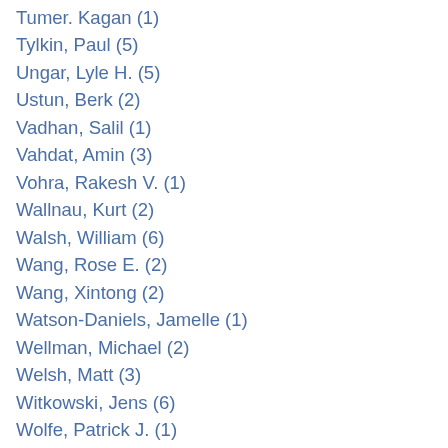Tumer. Kagan (1)
Tylkin, Paul (5)
Ungar, Lyle H. (5)
Ustun, Berk (2)
Vadhan, Salil (1)
Vahdat, Amin (3)
Vohra, Rakesh V. (1)
Wallnau, Kurt (2)
Walsh, William (6)
Wang, Rose E. (2)
Wang, Xintong (2)
Watson-Daniels, Jamelle (1)
Wellman, Michael (2)
Welsh, Matt (3)
Witkowski, Jens (6)
Wolfe, Patrick J. (1)
Woodard, Jason (1)
Wu, Sarah A. (3)
Wu-Yan, Elena (2)
Xia, Lirong (8)